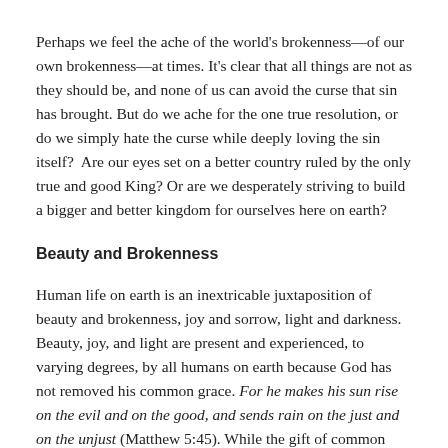Perhaps we feel the ache of the world's brokenness—of our own brokenness—at times. It's clear that all things are not as they should be, and none of us can avoid the curse that sin has brought. But do we ache for the one true resolution, or do we simply hate the curse while deeply loving the sin itself?  Are our eyes set on a better country ruled by the only true and good King? Or are we desperately striving to build a bigger and better kingdom for ourselves here on earth?
Beauty and Brokenness
Human life on earth is an inextricable juxtaposition of beauty and brokenness, joy and sorrow, light and darkness. Beauty, joy, and light are present and experienced, to varying degrees, by all humans on earth because God has not removed his common grace. For he makes his sun rise on the evil and on the good, and sends rain on the just and on the unjust (Matthew 5:45). While the gift of common grace keeps humanity from being fully given over to sin, it cannot fix all that sin has broken.